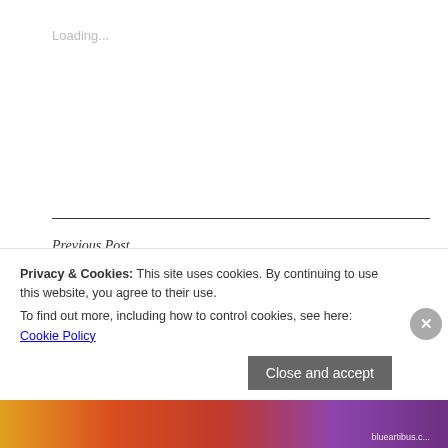Loading...
Previous Post
Author Interview | Alden Bell
Next Post
Privacy & Cookies: This site uses cookies. By continuing to use this website, you agree to their use.
To find out more, including how to control cookies, see here: Cookie Policy
Close and accept